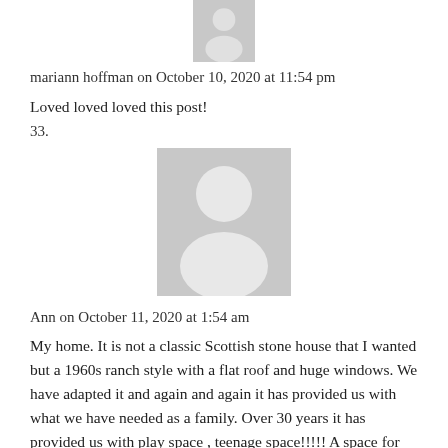[Figure (illustration): Gray placeholder avatar icon showing a person silhouette, partially visible at top]
mariann hoffman on October 10, 2020 at 11:54 pm
Loved loved loved this post!
33.
[Figure (illustration): Gray placeholder avatar icon showing a person silhouette]
Ann on October 11, 2020 at 1:54 am
My home. It is not a classic Scottish stone house that I wanted but a 1960s ranch style with a flat roof and huge windows. We have adapted it and again and again it has provided us with what we have needed as a family. Over 30 years it has provided us with play space , teenage space!!!!! A space for my elderly Mum , space for children and their families to stay or